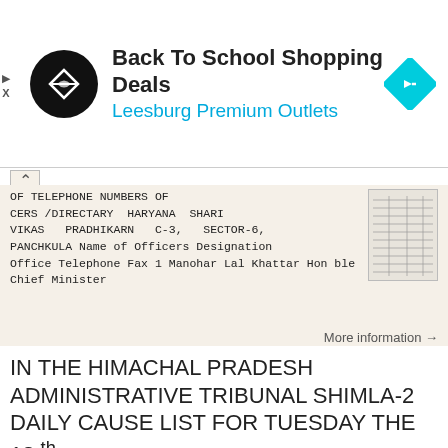[Figure (screenshot): Advertisement banner for Back To School Shopping Deals at Leesburg Premium Outlets with logo and navigation arrow icon]
OF TELEPHONE NUMBERS OF OFFICERS /DIRECTARY HARYANA SHARI VIKAS PRADHIKARN C-3, SECTOR-6, PANCHKULA Name of Officers Designation Office Telephone Fax 1 Manohar Lal Khattar Hon ble Chief Minister
More information →
IN THE HIMACHAL PRADESH ADMINISTRATIVE TRIBUNAL SHIMLA-2 DAILY CAUSE LIST FOR TUESDAY THE 13 th
1 IN THE HIMACHAL PRADESH ADMINISTRATIVE TRIBUNAL SHIMLA-2 DAILY CAUSE LIST FOR TUESDAY THE 13 th NOVEMBER,2018 HON BLE MR. D.K.